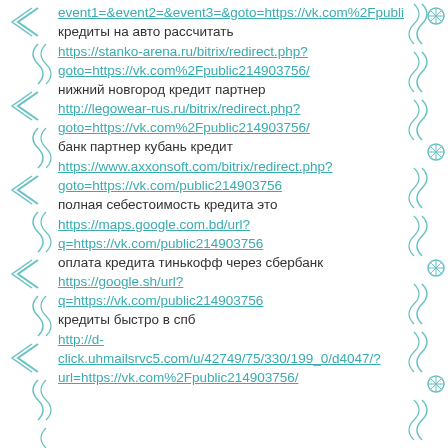event1=&event2=&event3=&goto=https://vk.com%2Fpublic214...
кредиты на авто рассчитать
https://stanko-arena.ru/bitrix/redirect.php?goto=https://vk.com%2Fpublic214903756/
нижний новгород кредит партнер
http://legowear-rus.ru/bitrix/redirect.php?goto=https://vk.com%2Fpublic214903756/
банк партнер кубань кредит
https://www.axxonsoft.com/bitrix/redirect.php?goto=https://vk.com/public214903756
полная себестоимость кредита это
https://maps.google.com.bd/url?q=https://vk.com/public214903756
оплата кредита тинькофф через сбербанк
https://google.sh/url?q=https://vk.com/public214903756
кредиты быстро в спб
http://d-click.uhmailsrvc5.com/u/42749/75/330/199_0/d4047/?url=https://vk.com%2Fpublic214903756/